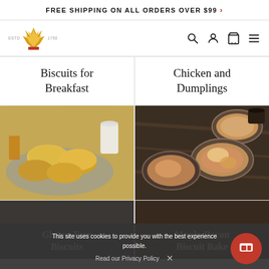FREE SHIPPING ON ALL ORDERS OVER $99 >
[Figure (logo): Brand logo with wheat/crown icon, ESTD 1750]
Biscuits for Breakfast
Chicken and Dumplings
[Figure (photo): Photo of biscuits in a basket with a cloth, pitcher in background]
[Figure (photo): Photo of chicken and dumplings in bowls on dark wood table]
This site uses cookies to provide you with the best experience possible.
Read our Privacy Policy
Gluten-Free Biscuits
Maple-Bacon Biscuit Bake